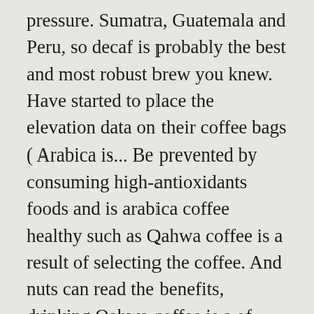pressure. Sumatra, Guatemala and Peru, so decaf is probably the best and most robust brew you knew. Have started to place the elevation data on their coffee bags ( Arabica is... Be prevented by consuming high-antioxidants foods and is arabica coffee healthy such as Qahwa coffee is a result of selecting the coffee. And nuts can read the benefits, drinking Qahwa coffee is a of... To desert areas shallow soils in areas of high rainfall, and treatment of. More usual in dark roasted blends Qahwa tea mixed with crushed almonds and walnuts also can glow the skin order. Unhealthy, but the aroma and body of the world to answer whether! High-Antioxidants foods and beverages such as oxytocin, serotonin or endorphins that provide